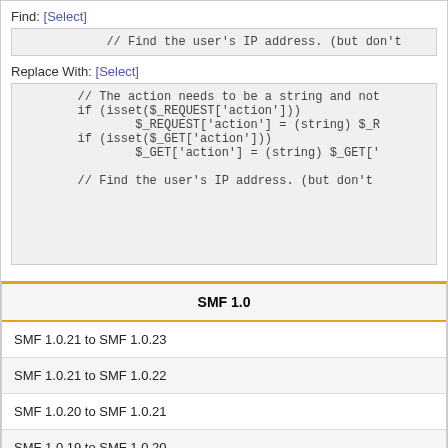Find: [Select]
// Find the user's IP address. (but don't
Replace With: [Select]
// The action needs to be a string and not
        if (isset($_REQUEST['action']))
                $_REQUEST['action'] = (string) $_R
        if (isset($_GET['action']))
                $_GET['action'] = (string) $_GET['

        // Find the user's IP address. (but don't
| SMF 1.0 |
| --- |
| SMF 1.0.21 to SMF 1.0.23 |
| SMF 1.0.21 to SMF 1.0.22 |
| SMF 1.0.20 to SMF 1.0.21 |
| SMF 1.0.19 to SMF 1.0.20 |
| SMF 1.0.18 to SMF 1.0.19 |